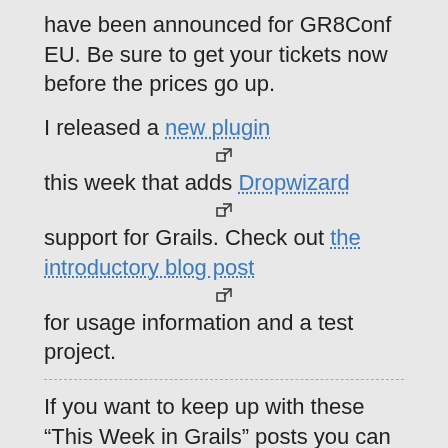have been announced for GR8Conf EU. Be sure to get your tickets now before the prices go up.
I released a new plugin [external link icon]
this week that adds Dropwizard [external link icon]
support for Grails. Check out the introductory blog post [external link icon]
for usage information and a test project.
If you want to keep up with these “This Week in Grails” posts you can access them directly via their category link